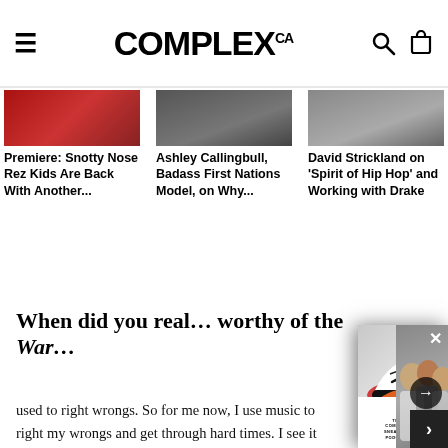COMPLEX CA
[Figure (photo): Thumbnail image 1 - red tones]
Premiere: Snotty Nose Rez Kids Are Back With Another...
[Figure (photo): Thumbnail image 2 - dark tones]
Ashley Callingbull, Badass First Nations Model, on Why...
[Figure (photo): Thumbnail image 3 - grey tones]
David Strickland on 'Spirit of Hip Hop' and Working with Drake
When did you real… worthy of the War…
It goes back to mus… it as a tool. It has g… helped me get frus… smack, it was bette… that frustration in… club was a traditio… used to right wrongs. So for me now, I use music to right my wrongs and get through hard times. I see it
[Figure (screenshot): Floating video/podcast popup showing The Complex Sneakers Podcast with sneaker images and three hosts. Title: The Most Exciting and Disappointing Sneakers Coming This Year | The Complex Sneake... with a close X button and right arrow navigation.]